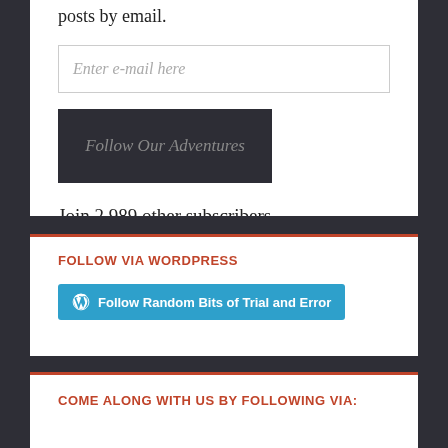posts by email.
Enter e-mail here
Follow Our Adventures
Join 2,989 other subscribers
FOLLOW VIA WORDPRESS
Follow Random Bits of Trial and Error
COME ALONG WITH US BY FOLLOWING VIA: